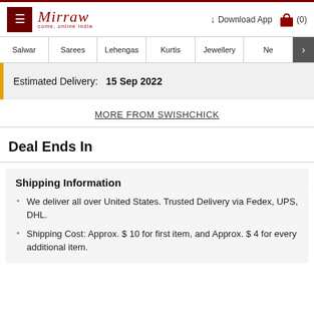Mirraw — come, online india | Download App | (0)
Salwar | Sarees | Lehengas | Kurtis | Jewellery | Ne >
Estimated Delivery: 15 Sep 2022
MORE FROM SWISHCHICK
Deal Ends In
Shipping Information
We deliver all over United States. Trusted Delivery via Fedex, UPS, DHL.
Shipping Cost: Approx. $ 10 for first item, and Approx. $ 4 for every additional item.